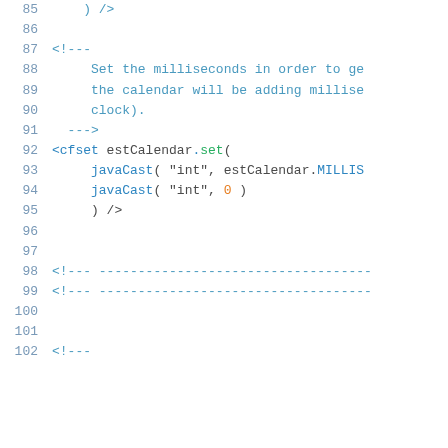Code snippet showing ColdFusion/XML code lines 85-102 with comments and cfset tags
85    ) />
86
87    <!--
88        Set the milliseconds in order to ge
89        the calendar will be adding millise
90        clock).
91    -->
92    <cfset estCalendar.set(
93        javaCast( "int", estCalendar.MILLIS
94        javaCast( "int", 0 )
95        ) />
96
97
98    <!-- ----------------------------------
99    <!-- ----------------------------------
100
101
102    <!--